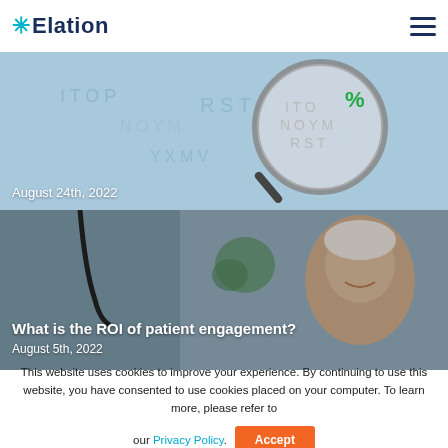Elation
[Figure (photo): Magnifying glass over scattered letters/symbols, with date overlay 'August 24th, 2022']
[Figure (photo): Elderly man smiling with doctor visible, blog card titled 'What is the ROI of patient engagement?' dated August 5th, 2022]
This website uses cookies to improve your experience. By continuing to use this website, you have consented to use cookies placed on your computer. To learn more, please refer to our Privacy Policy.